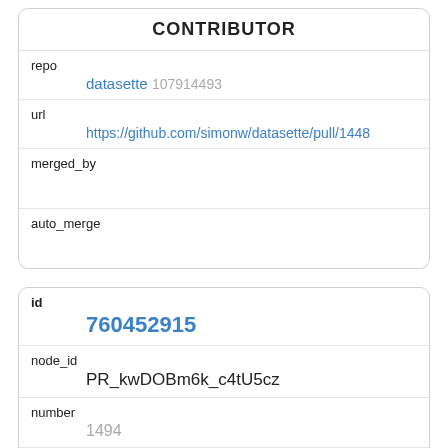CONTRIBUTOR
| repo | datasette 107914493 |
| url | https://github.com/simonw/datasette/pull/1448 |
| merged_by |  |
| auto_merge |  |
| id | 760452915 |
| node_id | PR_kwDOBm6k_c4tU5cz |
| number | 1494 |
| state | closed |
| locked | 0 |